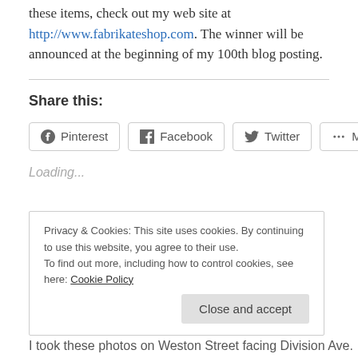these items, check out my web site at http://www.fabrikateshop.com. The winner will be announced at the beginning of my 100th blog posting.
Share this:
Pinterest  Facebook  Twitter  More
Loading...
Privacy & Cookies: This site uses cookies. By continuing to use this website, you agree to their use. To find out more, including how to control cookies, see here: Cookie Policy
Close and accept
I took these photos on Weston Street facing Division Ave.